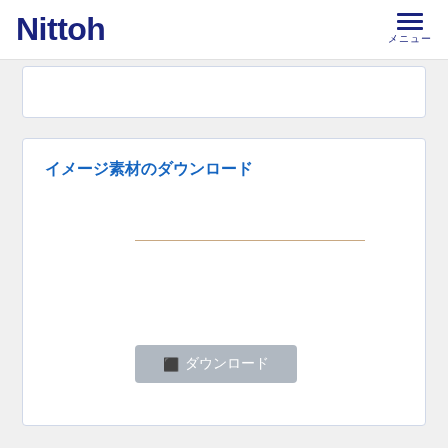Nittoh メニュー
[Figure (screenshot): Partial white card section visible at top of content area]
イメージ素材のダウンロード
ダウンロード